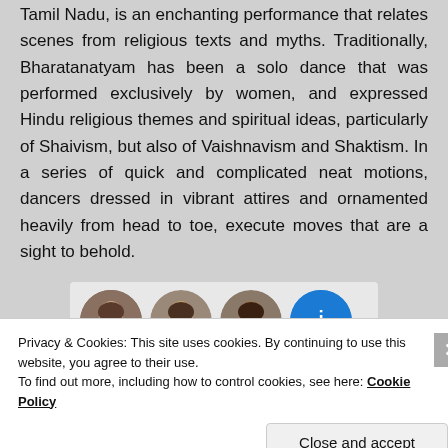Tamil Nadu, is an enchanting performance that relates scenes from religious texts and myths. Traditionally, Bharatanatyam has been a solo dance that was performed exclusively by women, and expressed Hindu religious themes and spiritual ideas, particularly of Shaivism, but also of Vaishnavism and Shaktism. In a series of quick and complicated neat motions, dancers dressed in vibrant attires and ornamented heavily from head to toe, execute moves that are a sight to behold.
[Figure (photo): Row of circular avatar/profile photos of people, partially visible, on a light grey background]
Privacy & Cookies: This site uses cookies. By continuing to use this website, you agree to their use.
To find out more, including how to control cookies, see here: Cookie Policy